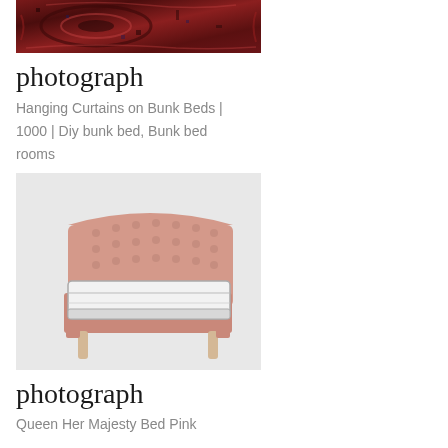[Figure (photo): Partial view of a red ornate Persian/Turkish rug with dark geometric patterns]
photograph
Hanging Curtains on Bunk Beds | 1000 | Diy bunk bed, Bunk bed rooms
[Figure (photo): Pink upholstered queen bed with tufted headboard and white mattress on light wooden legs, against a light gray background]
photograph
Queen Her Majesty Bed Pink